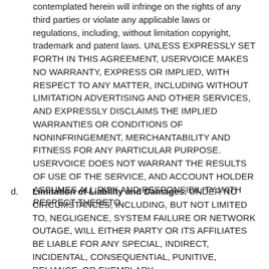contemplated herein will infringe on the rights of any third parties or violate any applicable laws or regulations, including, without limitation copyright, trademark and patent laws. UNLESS EXPRESSLY SET FORTH IN THIS AGREEMENT, USERVOICE MAKES NO WARRANTY, EXPRESS OR IMPLIED, WITH RESPECT TO ANY MATTER, INCLUDING WITHOUT LIMITATION ADVERTISING AND OTHER SERVICES, AND EXPRESSLY DISCLAIMS THE IMPLIED WARRANTIES OR CONDITIONS OF NONINFRINGEMENT, MERCHANTABILITY AND FITNESS FOR ANY PARTICULAR PURPOSE. USERVOICE DOES NOT WARRANT THE RESULTS OF USE OF THE SERVICE, AND ACCOUNT HOLDER ASSUMES ALL RISK AND RESPONSIBILITY WITH RESPECT THERETO.
d. Limitation of Liability and Damages. UNDER NO CIRCUMSTANCES, INCLUDING, BUT NOT LIMITED TO, NEGLIGENCE, SYSTEM FAILURE OR NETWORK OUTAGE, WILL EITHER PARTY OR ITS AFFILIATES BE LIABLE FOR ANY SPECIAL, INDIRECT, INCIDENTAL, CONSEQUENTIAL, PUNITIVE, RELIANCE, OR EXEMPLARY